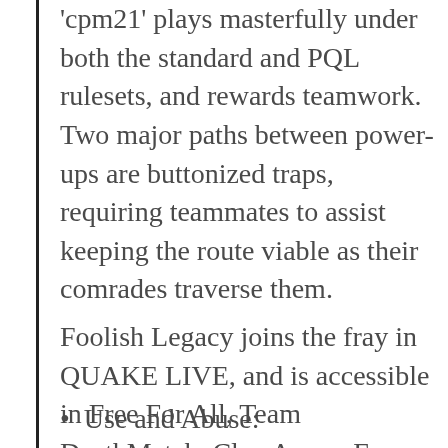'cpm21' plays masterfully under both the standard and PQL rulesets, and rewards teamwork. Two major paths between power-ups are buttonized traps, requiring teammates to assist keeping the route viable as their comrades traverse them.
Foolish Legacy joins the fray in QUAKE LIVE, and is accessible in Free For All, Team DeathMatch, Clan Arena, Freeze Tag, Domination, and Red Rover.
Use and Abuse: